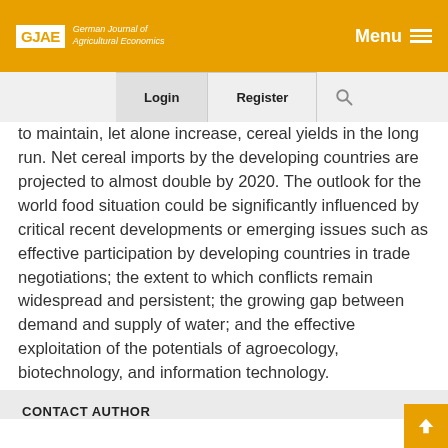GJAE German Journal of Agricultural Economics | Menu
to maintain, let alone increase, cereal yields in the long run. Net cereal imports by the developing countries are projected to almost double by 2020. The outlook for the world food situation could be significantly influenced by critical recent developments or emerging issues such as effective participation by developing countries in trade negotiations; the extent to which conflicts remain widespread and persistent; the growing gap between demand and supply of water; and the effective exploitation of the potentials of agroecology, biotechnology, and information technology.
CONTACT AUTHOR